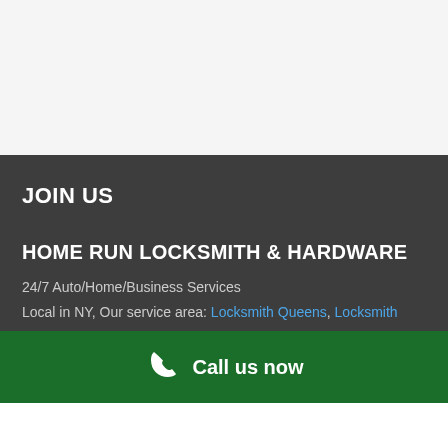JOIN US
HOME RUN LOCKSMITH & HARDWARE
24/7 Auto/Home/Business Services
Local in NY, Our service area: Locksmith Queens, Locksmith
Call us now